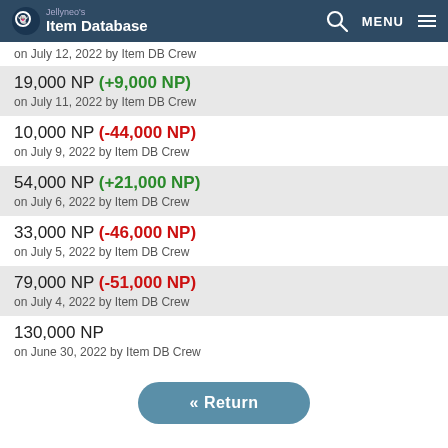Jellyneo's Item Database
on July 12, 2022 by Item DB Crew
19,000 NP (+9,000 NP)
on July 11, 2022 by Item DB Crew
10,000 NP (-44,000 NP)
on July 9, 2022 by Item DB Crew
54,000 NP (+21,000 NP)
on July 6, 2022 by Item DB Crew
33,000 NP (-46,000 NP)
on July 5, 2022 by Item DB Crew
79,000 NP (-51,000 NP)
on July 4, 2022 by Item DB Crew
130,000 NP
on June 30, 2022 by Item DB Crew
« Return